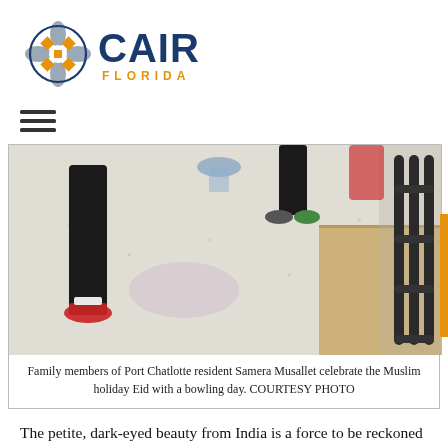[Figure (logo): CAIR Florida logo with stylized flower/cross icon in blue, orange, and grey, followed by 'CAIR' in dark blue bold text and 'FLORIDA' in orange spaced letters below]
[Figure (other): Hamburger/menu icon (three horizontal lines)]
[Figure (photo): Photo of legs/feet at a bowling alley, with tiled floor and bowling lane gutter visible]
Family members of Port Chatlotte resident Samera Musallet celebrate the Muslim holiday Eid with a bowling day. COURTESY PHOTO
The petite, dark-eyed beauty from India is a force to be reckoned with when it comes to standing up for her beliefs and what she